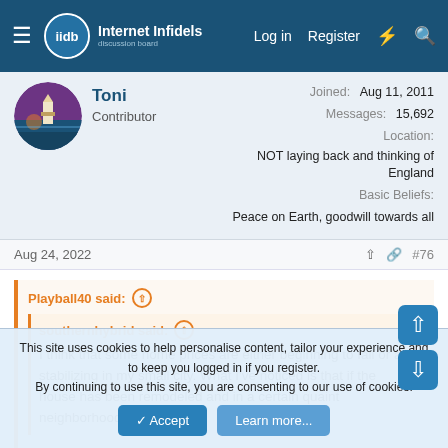Internet Infidels — Log in | Register
Toni
Contributor
Joined: Aug 11, 2011
Messages: 15,692
Location: NOT laying back and thinking of England
Basic Beliefs: Peace on Earth, goodwill towards all
Aug 24, 2022 #76
Playball40 said:
southernhybrid said:
I think that some home prices are either beginning to fall or are stabilizing in my small city. What I've noticed is that if the house has been remodeled and in a certain quaint neighborhood, it
This site uses cookies to help personalise content, tailor your experience and to keep you logged in if you register.
By continuing to use this site, you are consenting to our use of cookies.